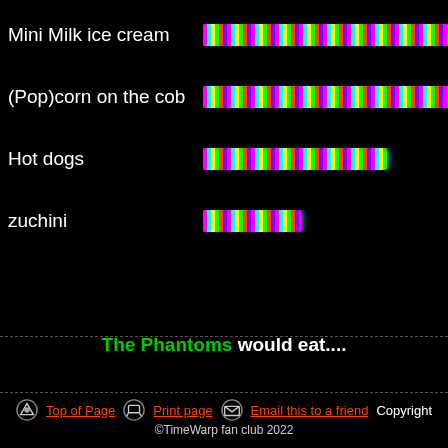Mini Milk ice cream
(Pop)corn on the cob
Hot dogs
zuchini
The Phantoms would eat....
The audience
KFC family feast
Monkey Brains
Bones
Air
Top of Page | Print page | Email this to a friend | Copyright | ©TimeWarp fan club 2022